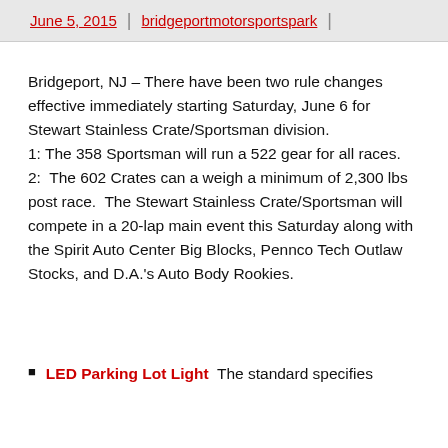June 5, 2015 | bridgeportmotorsportspark |
Bridgeport, NJ – There have been two rule changes effective immediately starting Saturday, June 6 for Stewart Stainless Crate/Sportsman division.
1: The 358 Sportsman will run a 522 gear for all races.
2:  The 602 Crates can a weigh a minimum of 2,300 lbs post race.  The Stewart Stainless Crate/Sportsman will compete in a 20-lap main event this Saturday along with the Spirit Auto Center Big Blocks, Pennco Tech Outlaw Stocks, and D.A.'s Auto Body Rookies.
LED Parking Lot Light  The standard specifies